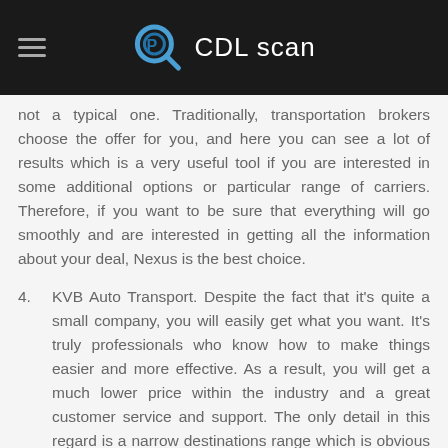CDL scan
not a typical one. Traditionally, transportation brokers choose the offer for you, and here you can see a lot of results which is a very useful tool if you are interested in some additional options or particular range of carriers. Therefore, if you want to be sure that everything will go smoothly and are interested in getting all the information about your deal, Nexus is the best choice.
4. KVB Auto Transport. Despite the fact that it's quite a small company, you will easily get what you want. It's truly professionals who know how to make things easier and more effective. As a result, you will get a much lower price within the industry and a great customer service and support. The only detail in this regard is a narrow destinations range which is obvious considering the size of the transportation company. But if the locations fit, you can expect the most exclusive and customer oriented service possible. Normally